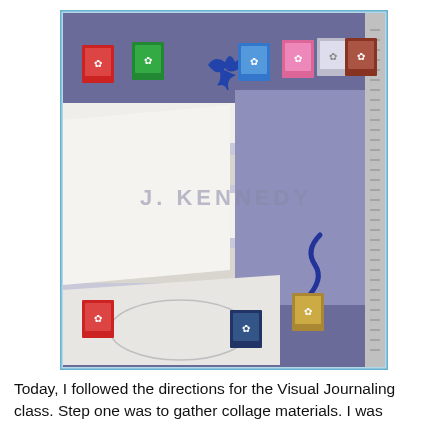[Figure (photo): A collage artwork featuring patterned fabric with blue wavy and diamond designs, white torn paper strips, and multiple postage stamps in red, green, blue, pink, brown, and gold arranged along the top and bottom edges. A blue decorative bird or butterfly shape appears near the top center. A watermark reads 'J. KENNEDY' across the middle. The collage is framed with a light blue border.]
Today, I followed the directions for the Visual Journaling class. Step one was to gather collage materials. I was